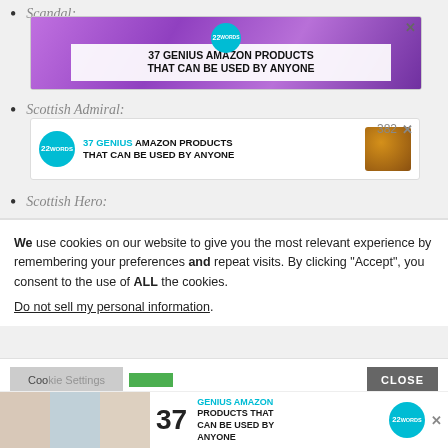Scandal:
[Figure (screenshot): Advertisement banner: 37 GENIUS AMAZON PRODUCTS THAT CAN BE USED BY ANYONE, with purple headphones background and 22 Words badge]
Scottish Admiral:
[Figure (screenshot): Advertisement: 37 GENIUS AMAZON PRODUCTS THAT CAN BE USED BY ANYONE, horizontal layout with 22 Words teal badge and product image. Page number 382 shown.]
Scottish Hero:
We use cookies on our website to give you the most relevant experience by remembering your preferences and repeat visits. By clicking “Accept”, you consent to the use of ALL the cookies.
Do not sell my personal information.
[Figure (screenshot): Cookie consent dialog with Cookie Settings, Accept, and CLOSE buttons]